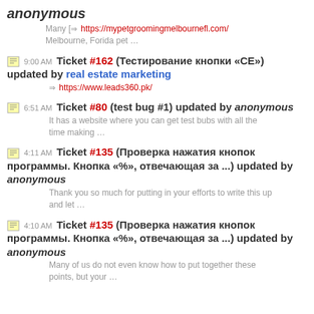anonymous
Many [→ https://mypetgroomingmelbournefl.com/ Melbourne, Forida pet …
9:00 AM Ticket #162 (Тестирование кнопки «СЕ») updated by real estate marketing
→ https://www.leads360.pk/
6:51 AM Ticket #80 (test bug #1) updated by anonymous
It has a website where you can get test bubs with all the time making …
4:11 AM Ticket #135 (Проверка нажатия кнопок программы. Кнопка «%», отвечающая за ...) updated by anonymous
Thank you so much for putting in your efforts to write this up and let …
4:10 AM Ticket #135 (Проверка нажатия кнопок программы. Кнопка «%», отвечающая за ...) updated by anonymous
Many of us do not even know how to put together these points, but your …